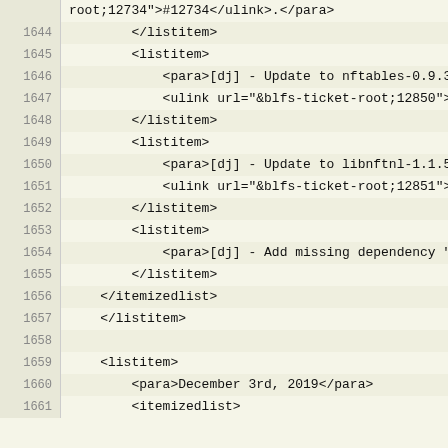root;12734">#12734</ulink>.</para>
1644    </listitem>
1645    <listitem>
1646    <para>[dj] - Update to nftables-0.9.3. Fixes
1647    <ulink url="&blfs-ticket-root;12850">#12850</ulink>.</para>
1648    </listitem>
1649    <listitem>
1650    <para>[dj] - Update to libnftnl-1.1.5. Fixes
1651    <ulink url="&blfs-ticket-root;12851">#12851</ulink>.</para>
1652    </listitem>
1653    <listitem>
1654    <para>[dj] - Add missing dependency "six" to python-slip.</para>
1655    </listitem>
1656    </itemizedlist>
1657    </listitem>
1658
1659    <listitem>
1660    <para>December 3rd, 2019</para>
1661    <itemizedlist>